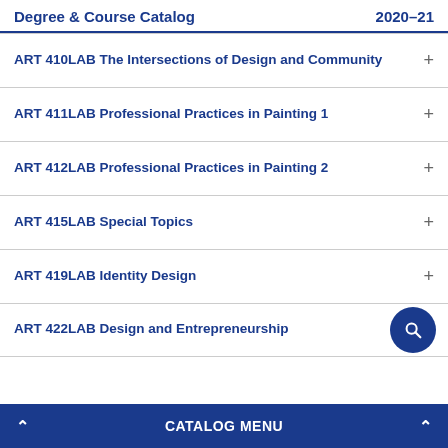Degree & Course Catalog  2020–21
ART 410LAB The Intersections of Design and Community +
ART 411LAB Professional Practices in Painting 1 +
ART 412LAB Professional Practices in Painting 2 +
ART 415LAB Special Topics +
ART 419LAB Identity Design +
ART 422LAB Design and Entrepreneurship
CATALOG MENU